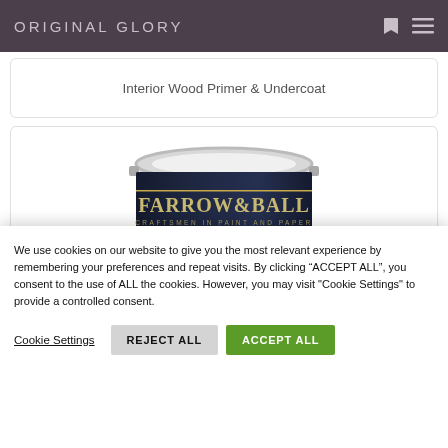ORIGINAL GLORY
Interior Wood Primer & Undercoat
[Figure (photo): Farrow & Ball paint tin — dark navy label with gold lettering reading 'FARROW & BALL CRAFTSMEN IN PAINT AND PAPER', circular emblem on lower portion, dark red/burgundy paint visible at tin base]
We use cookies on our website to give you the most relevant experience by remembering your preferences and repeat visits. By clicking “ACCEPT ALL”, you consent to the use of ALL the cookies. However, you may visit "Cookie Settings" to provide a controlled consent.